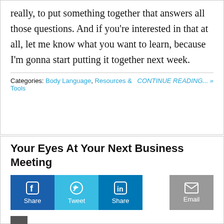really, to put something together that answers all those questions. And if you're interested in that at all, let me know what you want to learn, because I'm gonna start putting it together next week.
Categories: Body Language, Resources & Tools     CONTINUE READING... »
Your Eyes At Your Next Business Meeting
[Figure (infographic): Social sharing buttons: Facebook Share (dark blue), Twitter Tweet (light blue), LinkedIn Share (teal/dark blue), and Email (grey), each with icon and label.]
here are so many books, experts, studies,